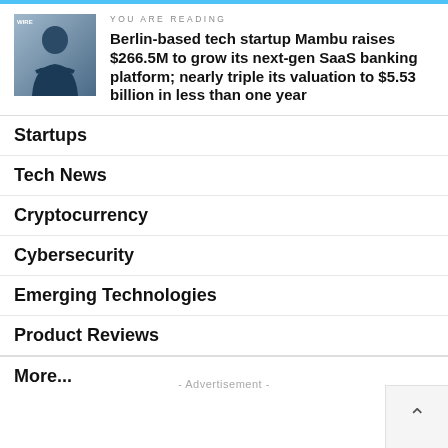YOU ARE READING
Berlin-based tech startup Mambu raises $266.5M to grow its next-gen SaaS banking platform; nearly triple its valuation to $5.53 billion in less than one year
Startups
Tech News
Cryptocurrency
Cybersecurity
Emerging Technologies
Product Reviews
More...
- Advertisement -